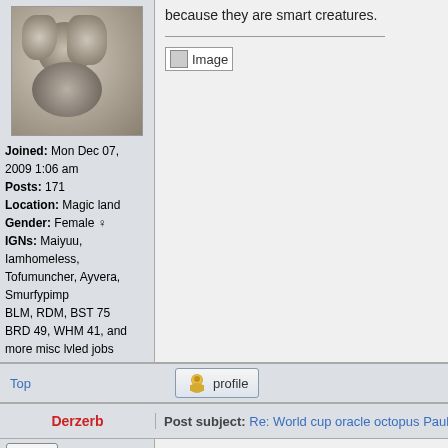[Figure (photo): Forum avatar showing a grey armored creature/character]
Joined: Mon Dec 07, 2009 1:06 am
Posts: 171
Location: Magic land
Gender: Female
IGNs: Maiyuu, Iamhomeless, Tofumuncher, Ayvera, Smurfypimp
BLM, RDM, BST 75
BRD 49, WHM 41, and more misc lvled jobs
because they are smart creatures.
[Figure (photo): Broken image placeholder labeled 'Image']
Top
[Figure (screenshot): Profile button with user icon]
Derzerb
Post subject: Re: World cup oracle octopus Paul dies
offline
Tarutaru Murder Suspect
[Figure (illustration): Orange cartoon bird/chocobo character on green background]
Gentlemen, we can rebuild him. We have t faster.
[Figure (screenshot): Chat terminal showing: <Flakes> thats one thing i don <Evilyn> i cant run abby partie <Evilyn> ppl drop like flies]